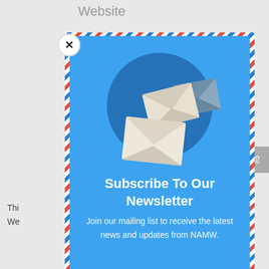Website
[Figure (screenshot): Newsletter subscription popup modal with airmail-style red/white/blue diagonal stripe border on a blue background, featuring envelope illustrations inside a dark blue circle, bold white title text, and subtitle text.]
Subscribe To Our Newsletter
Join our mailing list to receive the latest news and updates from NAMW.
Thi                                                                    ce.
We                                                                    ut if
Email